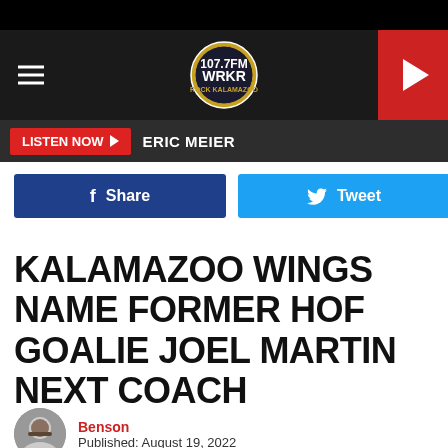WRKR Radio — Navigation header with hamburger menu, WRKR logo, and play button
LISTEN NOW ▶  ERIC MEIER
f Share   🐦 Tweet
KALAMAZOO WINGS NAME FORMER HOF GOALIE JOEL MARTIN NEXT COACH
Benson
Published: August 19, 2022